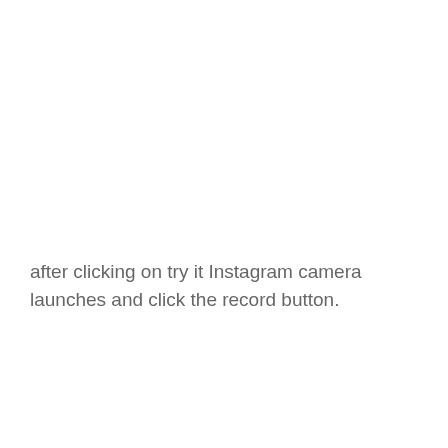after clicking on try it Instagram camera launches and click the record button.